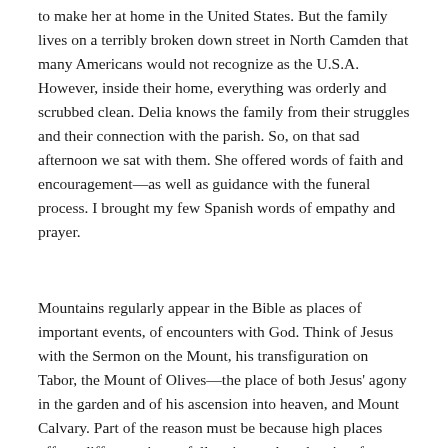to make her at home in the United States.  But the family lives on a terribly broken down street in North Camden that many Americans would not recognize as the U.S.A.  However, inside their home, everything was orderly and scrubbed clean.  Delia knows the family from their struggles and their connection with the parish.  So, on that sad afternoon we sat with them.  She offered words of faith and encouragement—as well as guidance with the funeral process.   I brought my few Spanish words of empathy and prayer.
Mountains regularly appear in the Bible as places of important events, of encounters with God.   Think of Jesus with the Sermon on the Mount, his transfiguration on Tabor, the Mount of Olives—the place of both Jesus' agony in the garden and of his ascension into heaven, and Mount Calvary.  Part of the reason must be because high places offer a different view, a fuller picture than the view from the